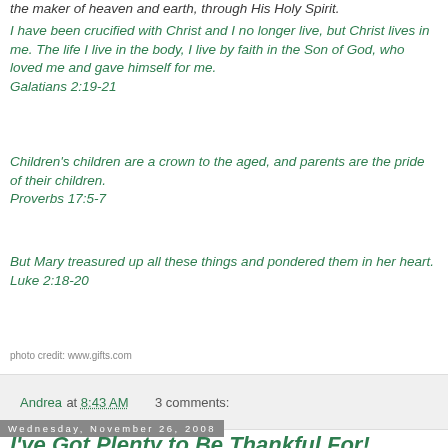the maker of heaven and earth, through His Holy Spirit.
I have been crucified with Christ and I no longer live, but Christ lives in me. The life I live in the body, I live by faith in the Son of God, who loved me and gave himself for me. Galatians 2:19-21
Children's children are a crown to the aged, and parents are the pride of their children. Proverbs 17:5-7
But Mary treasured up all these things and pondered them in her heart. Luke 2:18-20
photo credit: www.gifts.com
Andrea at 8:43 AM    3 comments:
Wednesday, November 26, 2008
I've Got Plenty to Be Thankful For!